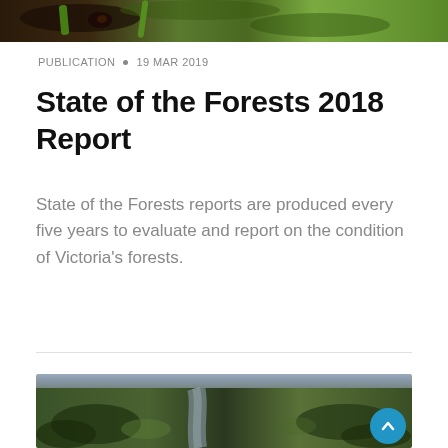[Figure (photo): Close-up photo of a plant or insect on foliage, green background]
PUBLICATION • 19 MAR 2019
State of the Forests 2018 Report
State of the Forests reports are produced every five years to evaluate and report on the condition of Victoria's forests.
[Figure (photo): Aerial photo of a forested area with a river or road cutting through it]